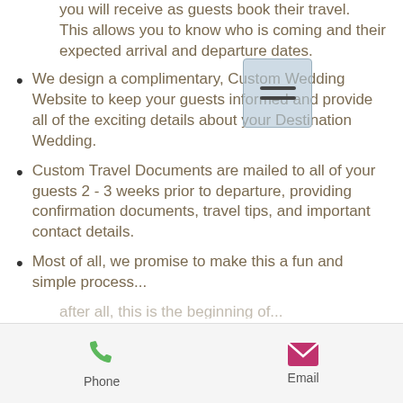you will receive as guests book their travel.  This allows you to know who is coming and their expected arrival and departure dates.
We design a complimentary, Custom Wedding Website to keep your guests informed and provide all of the exciting details about your Destination Wedding.
Custom Travel Documents are mailed to all of your guests 2 - 3 weeks prior to departure, providing confirmation documents, travel tips, and important contact details.
Most of all, we promise to make this a fun and simple process...
[Figure (screenshot): Mobile app hamburger menu button overlay on text]
Phone   Email